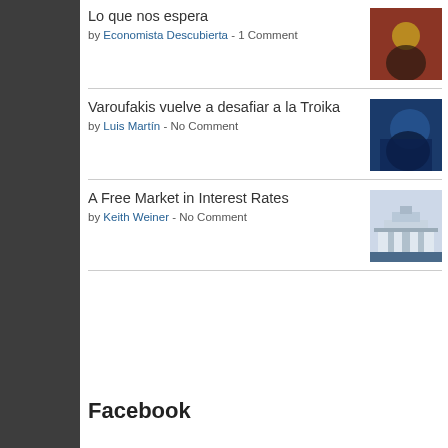Lo que nos espera by Economista Descubierta - 1 Comment
Varoufakis vuelve a desafiar a la Troika by Luis Martín - No Comment
A Free Market in Interest Rates by Keith Weiner - No Comment
Facebook